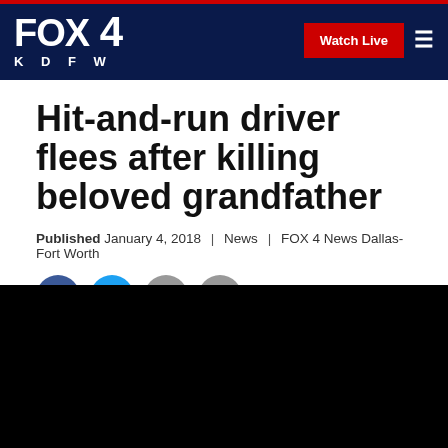FOX 4 KDFW | Watch Live
Hit-and-run driver flees after killing beloved grandfather
Published January 4, 2018 | News | FOX 4 News Dallas-Fort Worth
[Figure (other): Social sharing icons: Facebook, Twitter, Print, Email]
[Figure (other): Black video player embed area]